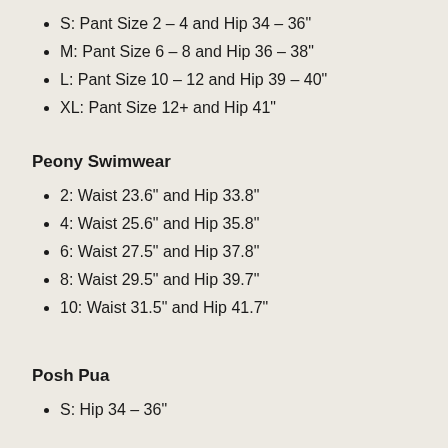S: Pant Size 2 – 4 and Hip 34 – 36"
M: Pant Size 6 – 8 and Hip 36 – 38"
L: Pant Size 10 – 12 and Hip 39 – 40"
XL: Pant Size 12+ and Hip 41"
Peony Swimwear
2: Waist 23.6" and Hip 33.8"
4: Waist 25.6" and Hip 35.8"
6: Waist 27.5" and Hip 37.8"
8: Waist 29.5" and Hip 39.7"
10: Waist 31.5" and Hip 41.7"
Posh Pua
S: Hip 34 – 36"